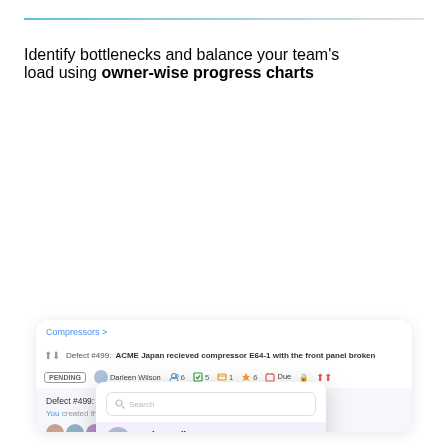Identify bottlenecks and balance your team's load using owner-wise progress charts
[Figure (screenshot): Software application screenshot showing a defect tracking interface with a dropdown user/owner selector. The dropdown lists users: Darlene Wilson (Owner, highlighted in purple), Bessie Howard, Theresa Peru, Cody Alexander, Francisco Watson, with options to Add Owner and Add Participants. Behind the dropdown is a defect detail view for Defect #499 about ACME Japan compressor with chat messages from Cody Alexander and Ben Merton.]